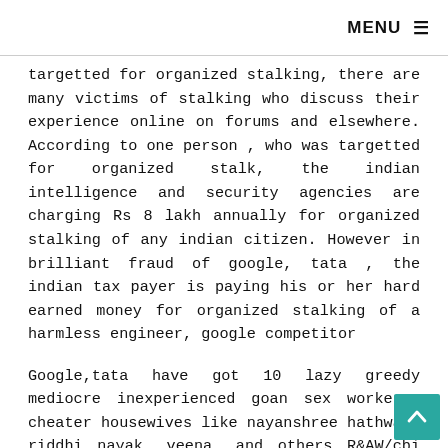MENU ☰
targetted for organized stalking, there are many victims of stalking who discuss their experience online on forums and elsewhere. According to one person , who was targetted for organized stalk, the indian intelligence and security agencies are charging Rs 8 lakh annually for organized stalking of any indian citizen. However in brilliant fraud of google, tata , the indian tax payer is paying his or her hard earned money for organized stalking of a harmless engineer, google competitor
Google,tata have got 10 lazy greedy mediocre inexperienced goan sex workers, cheater housewives like nayanshree hathwar, riddhi nayak, veena, and others R&AW/cbi jobs falsely claiming that they have the impressive resume,